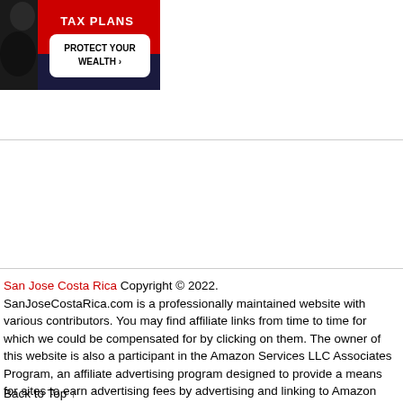[Figure (illustration): Advertisement banner with red and dark navy background showing a person in suit on left side, text 'TAX PLANS' at top, and a white button reading 'PROTECT YOUR WEALTH ›']
San Jose Costa Rica Copyright © 2022. SanJoseCostaRica.com is a professionally maintained website with various contributors. You may find affiliate links from time to time for which we could be compensated for by clicking on them. The owner of this website is also a participant in the Amazon Services LLC Associates Program, an affiliate advertising program designed to provide a means for sites to earn advertising fees by advertising and linking to Amazon properties.
Back to Top ↑